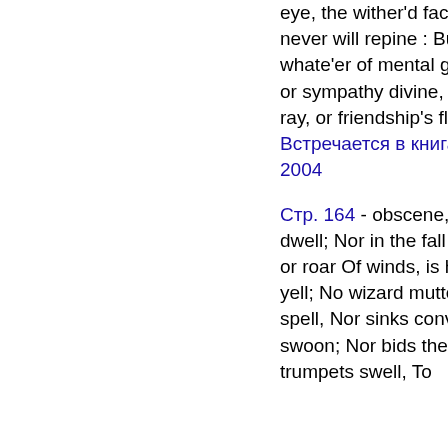eye, the wither'd face, Or hoary hair, I never will repine : But spare, O Time, whate'er of mental grace, Of candor, love, or sympathy divine, Whate'er of fancy's ray, or friendship's flame is
Встречается в книгах (74) с 1785 по 2004
Стр. 164 - obscene, and griesly phantom dwell; Nor in the fall of mountain-stream, or roar Of winds, is heard the angry spirit's yell; No wizard mutters the tremendous spell, Nor sinks convulsive in prophetic swoon; Nor bids the noise of drums and trumpets swell, To